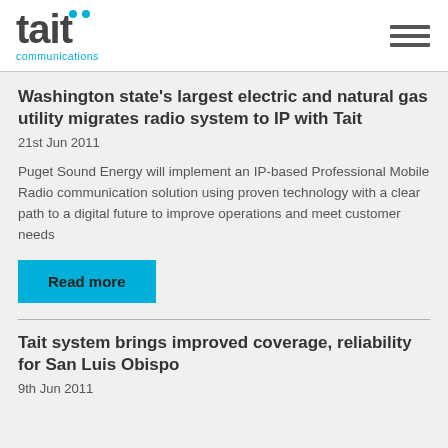[Figure (logo): Tait Communications logo with cyan dots above letters and cyan 'communications' text below]
Washington state's largest electric and natural gas utility migrates radio system to IP with Tait
21st Jun 2011
Puget Sound Energy will implement an IP-based Professional Mobile Radio communication solution using proven technology with a clear path to a digital future to improve operations and meet customer needs
Read more
Tait system brings improved coverage, reliability for San Luis Obispo
9th Jun 2011